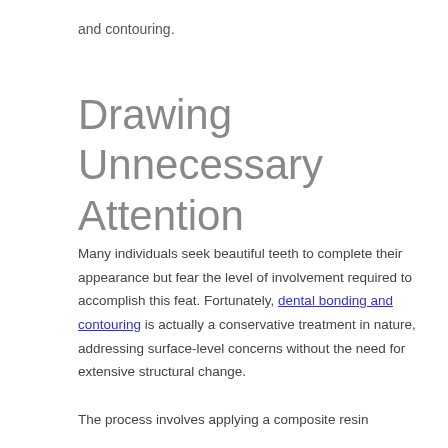and contouring.
Drawing Unnecessary Attention
Many individuals seek beautiful teeth to complete their appearance but fear the level of involvement required to accomplish this feat. Fortunately, dental bonding and contouring is actually a conservative treatment in nature, addressing surface-level concerns without the need for extensive structural change.
The process involves applying a composite resin